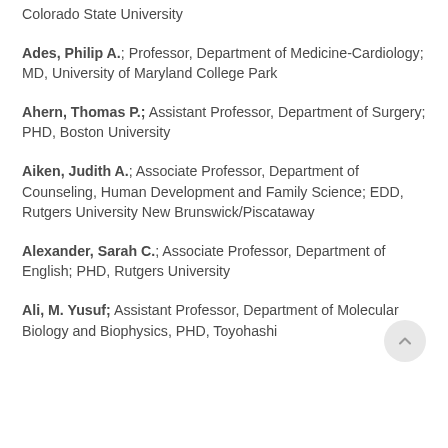Colorado State University
Ades, Philip A.; Professor, Department of Medicine-Cardiology; MD, University of Maryland College Park
Ahern, Thomas P.; Assistant Professor, Department of Surgery; PHD, Boston University
Aiken, Judith A.; Associate Professor, Department of Counseling, Human Development and Family Science; EDD, Rutgers University New Brunswick/Piscataway
Alexander, Sarah C.; Associate Professor, Department of English; PHD, Rutgers University
Ali, M. Yusuf; Assistant Professor, Department of Molecular Biology and Biophysics, PHD, Toyohashi